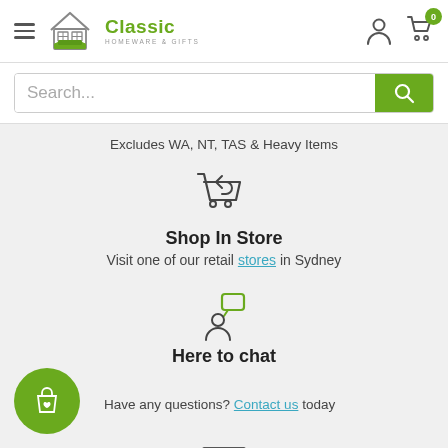[Figure (logo): Classic Homeware & Gifts logo with house/sofa icon and green text]
Search...
Excludes WA, NT, TAS & Heavy Items
[Figure (illustration): Shopping cart with return arrow icon]
Shop In Store
Visit one of our retail stores in Sydney
[Figure (illustration): Person with speech bubble icon]
Here to chat
Have any questions? Contact us today
[Figure (illustration): Green circle with shopping bag icon (partial, bottom of page)]